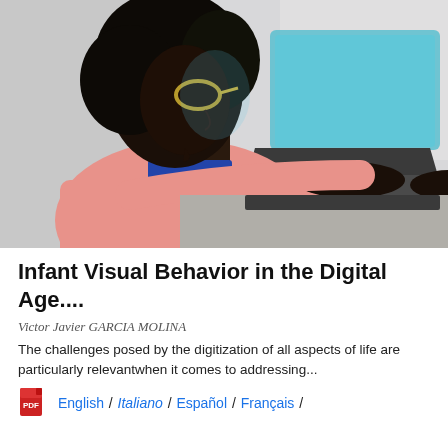[Figure (photo): A person with natural curly hair and glasses, wearing a pink sweater, sitting at a desk and typing on a laptop with a blue-lit screen, photographed from the side in a softly lit environment.]
Infant Visual Behavior in the Digital Age....
Victor Javier GARCIA MOLINA
The challenges posed by the digitization of all aspects of life are particularly relevantwhen it comes to addressing...
English / Italiano / Español / Français /